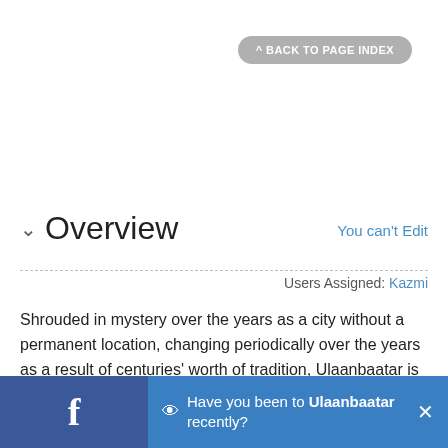^ BACK TO PAGE INDEX
Overview   You can't Edit
Users Assigned: Kazmi
Shrouded in mystery over the years as a city without a permanent location, changing periodically over the years as a result of centuries' worth of tradition, Ulaanbaatar is the capital and largest city of Mongolia, now permanently located in a valley on the confluence of the Tuul and Selbe rivers. Initially formed as a city for
Have you been to Ulaanbaatar recently?